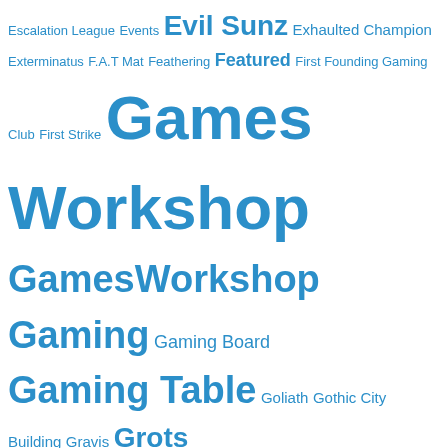[Figure (other): Tag cloud of gaming and hobby-related terms in various font sizes, all in blue on white background. Terms include: Escalation League, Events, Evil Sunz, Exhaulted Champion, Exterminatus, F.A.T Mat, Feathering, Featured, First Founding Gaming Club, First Strike, Games Workshop, GamesWorkshop, Gaming, Gaming Board, Gaming Table, Goliath, Gothic City Building, Gravis, Grots, Guardsmen, Guide, Half Year Review, Halloween, Hatchette Partworks, head swap, Heavy Intercessors, Heresy, Hero Forge, Heroquest, Hobby, Hobby Bingo, Hobby Haul, Hobby Plans, Home Made, Honoured, Imperium, House Goliath, House Van Saar, Howling Banshees, How To, How to build, Imperial Bastion, Imperial Defence Emplacement, Imperial Defence Line, Imperial Fists, Imperial Guard, Imperium Magazine, Indomitus, Inquisition, Inquisitor, Intercessors, Iron Labyrinth, Judge Dredd, Judicators, Killa Kans, Kill Team, kitbash, Kommandos, Landraider, Landspeeder, Leman Russ Tank, Liberators, librarian, Lieutenant, Lockdown, Lockdown Armies, Lord-Relictor, Lost Patrol, Mad Robot Miniatures, magazine, Make a Hero, Mantic, manufactorum, maxmini, Mayhem, Mean Machine, Mega City One, Mentors, Metal Miniature, Miniatures, Miniature Storage, Models, Morkanaut, Mortal Realms, Motivation, Munitorum Armoured]